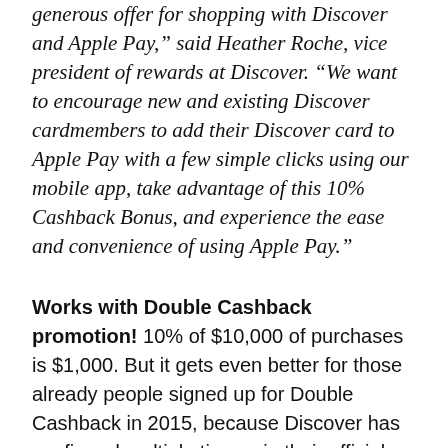generous offer for shopping with Discover and Apple Pay," said Heather Roche, vice president of rewards at Discover. "We want to encourage new and existing Discover cardmembers to add their Discover card to Apple Pay with a few simple clicks using our mobile app, take advantage of this 10% Cashback Bonus, and experience the ease and convenience of using Apple Pay."
Works with Double Cashback promotion! 10% of $10,000 of purchases is $1,000. But it gets even better for those already people signed up for Double Cashback in 2015, because Discover has confirmed multiple times via their official Twitter channel that it will double this as well! That makes it up to $2,000 in